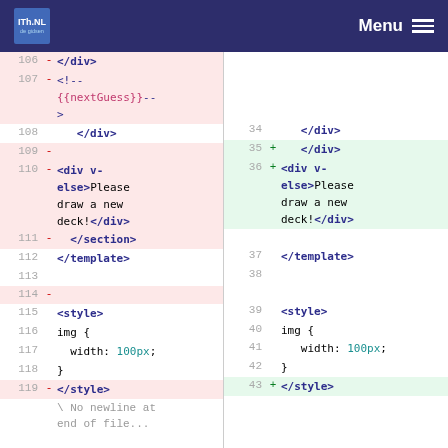ITh.NL - Menu
[Figure (screenshot): Code diff view showing two panes. Left pane with line numbers 106-119 showing deleted lines (pink background) and unchanged lines. Right pane with line numbers 34-43 showing added lines (green background) and unchanged lines. Code contains HTML template with Vue.js directives and CSS styles.]